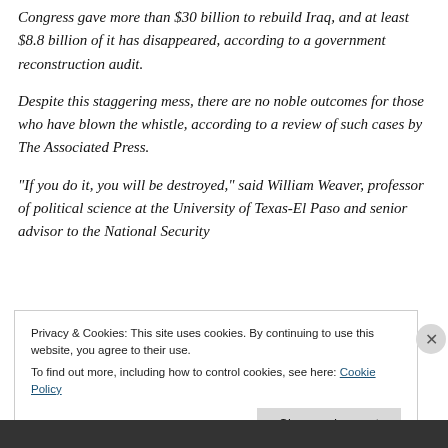Congress gave more than $30 billion to rebuild Iraq, and at least $8.8 billion of it has disappeared, according to a government reconstruction audit.
Despite this staggering mess, there are no noble outcomes for those who have blown the whistle, according to a review of such cases by The Associated Press.
"If you do it, you will be destroyed," said William Weaver, professor of political science at the University of Texas-El Paso and senior advisor to the National Security
Privacy & Cookies: This site uses cookies. By continuing to use this website, you agree to their use.
To find out more, including how to control cookies, see here: Cookie Policy